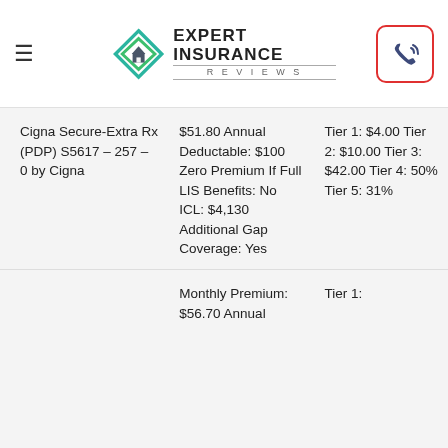Expert Insurance Reviews
| Plan | Monthly Premium / Details | Copays |
| --- | --- | --- |
| Cigna Secure-Extra Rx (PDP) S5617 – 257 – 0 by Cigna | $51.80 Annual Deductable: $100 Zero Premium If Full LIS Benefits: No ICL: $4,130 Additional Gap Coverage: Yes | Tier 1: $4.00 Tier 2: $10.00 Tier 3: $42.00 Tier 4: 50% Tier 5: 31% |
|  | Monthly Premium: $56.70 Annual | Tier 1: |